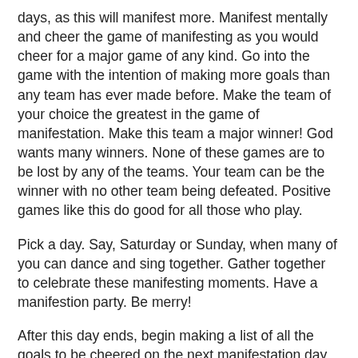days, as this will manifest more. Manifest mentally and cheer the game of manifesting as you would cheer for a major game of any kind. Go into the game with the intention of making more goals than any team has ever made before. Make the team of your choice the greatest in the game of manifestation. Make this team a major winner! God wants many winners. None of these games are to be lost by any of the teams. Your team can be the winner with no other team being defeated. Positive games like this do good for all those who play.
Pick a day. Say, Saturday or Sunday, when many of you can dance and sing together. Gather together to celebrate these manifesting moments. Have a manifestion party. Be merry!
After this day ends, begin making a list of all the goals to be cheered on the next manifestation day. Practice doing this list making daily. Meditate, then ask your heart: "What do I manifest today?" Write it down. Close out all negative thoughts that may arise. Ignore them. Having fun is the way to clear doubts. Major concerns are also to be given to God to take care of. You do the very best you can, and in addition